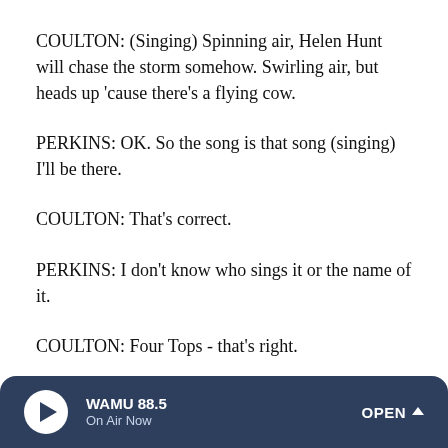COULTON: (Singing) Spinning air, Helen Hunt will chase the storm somehow. Swirling air, but heads up 'cause there's a flying cow.
PERKINS: OK. So the song is that song (singing) I'll be there.
COULTON: That's correct.
PERKINS: I don't know who sings it or the name of it.
COULTON: Four Tops - that's right.
PERKINS: (Vocalizing).
WAMU 88.5  On Air Now  OPEN